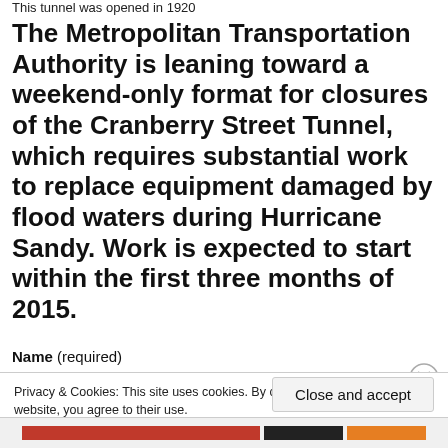This tunnel was opened in 1920
The Metropolitan Transportation Authority is leaning toward a weekend-only format for closures of the Cranberry Street Tunnel, which requires substantial work to replace equipment damaged by flood waters during Hurricane Sandy. Work is expected to start within the first three months of 2015.
Name (required)
Privacy & Cookies: This site uses cookies. By continuing to use this website, you agree to their use.
To find out more, including how to control cookies, see here: Cookie Policy
Close and accept